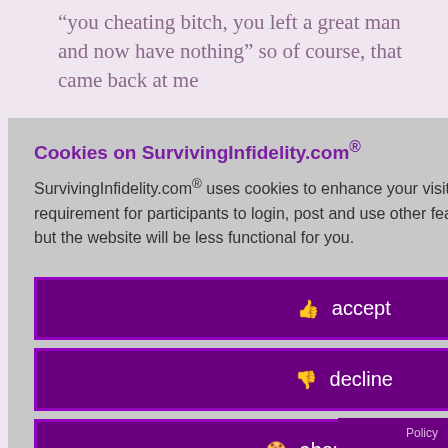“you cheating bitch, you left a great man and now have nothing” so of course, that came back at me
go...That she ight now verted into an oney from the out....
Cookies on SurvivingInfidelity.com®
SurvivingInfidelity.com® uses cookies to enhance your visit to our website. This is a requirement for participants to login, post and use other features. Visitors may opt out, but the website will be less functional for you.
accept
decline
about cookies
ve since lling me, and I lich is a long me texts non
Policy